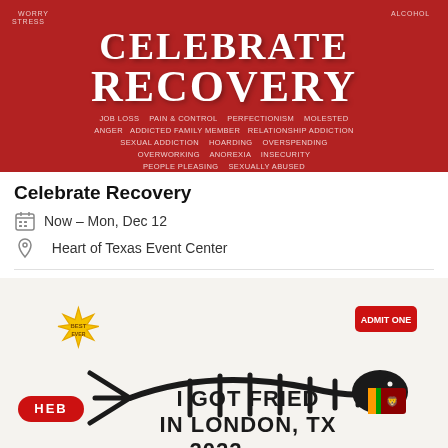[Figure (illustration): Red background banner with 'CELEBRATE RECOVERY' text in large white serif font, surrounded by a word cloud of struggles/issues in smaller white text (worry, stress, job loss, anger, pain, control, perfectionism, addiction, sexual addiction, people pleasing, insecurity, overworking, etc.)]
Celebrate Recovery
Now – Mon, Dec 12
Heart of Texas Event Center
[Figure (illustration): White background image with a black fish skeleton graphic. Text reads 'I GOT FRIED IN LONDON, TX 2022'. Sticker-style decorations including HEB logo badge (red), a yellow starburst badge, a red ticket sticker, and a Sri Lanka flag sticker. Bottom has partially visible text.]